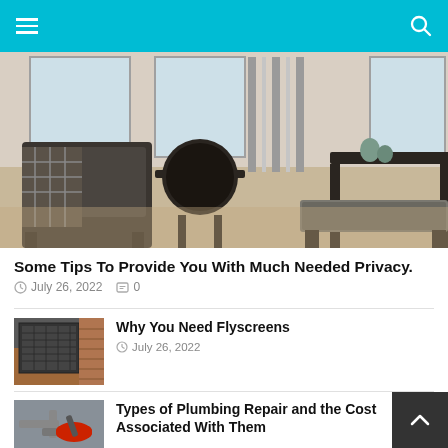Navigation bar with hamburger menu and search icon
[Figure (photo): Interior room photo showing dark wood armchair with plaid throw, round side table, bench at foot of bed, and dark wood console table with decorative items, on a light carpet with cream curtains]
Some Tips To Provide You With Much Needed Privacy.
July 26, 2022   0
Why You Need Flyscreens
July 26, 2022
Types of Plumbing Repair and the Cost Associated With Them